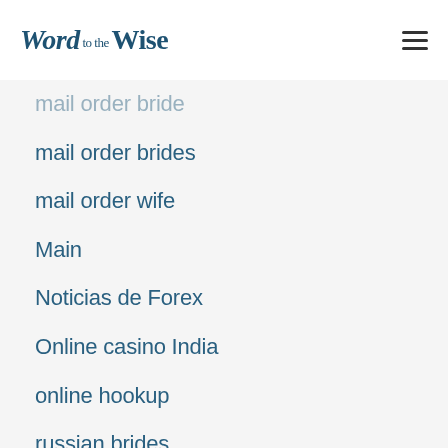Word to the Wise
mail order bride
mail order brides
mail order wife
Main
Noticias de Forex
Online casino India
online hookup
russian brides
SERM Umarkets 1T
Sober living